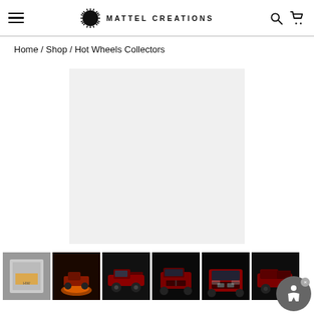Mattel Creations — navigation header with hamburger menu, logo, search and cart icons
Home / Shop / Hot Wheels Collectors
[Figure (photo): Main product image area — light gray placeholder rectangle for Hot Wheels Collectors product]
[Figure (photo): Thumbnail 1: product packaging on gray background]
[Figure (photo): Thumbnail 2: Hot Wheels truck on orange/yellow display stand]
[Figure (photo): Thumbnail 3: Red Hot Wheels pickup truck side view on dark background]
[Figure (photo): Thumbnail 4: Red Hot Wheels pickup truck front-angled view on dark background]
[Figure (photo): Thumbnail 5: Red Hot Wheels pickup truck front view on dark background]
[Figure (photo): Thumbnail 6: Red Hot Wheels pickup truck rear-side view on dark background]